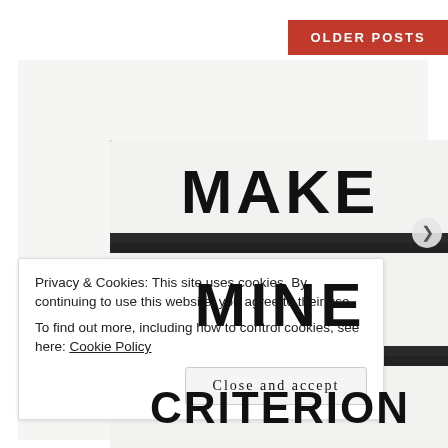OLDER POSTS
[Figure (photo): A light-up letter board displaying the text MAKE / MINE / CRITERION in large black letters on a glowing white background with dark divider strips between rows.]
Privacy & Cookies: This site uses cookies. By continuing to use this website, you agree to their use.
To find out more, including how to control cookies, see here: Cookie Policy
Close and accept